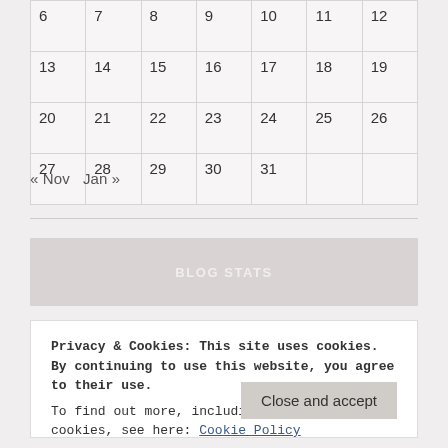| 6 | 7 | 8 | 9 | 10 | 11 | 12 |
| 13 | 14 | 15 | 16 | 17 | 18 | 19 |
| 20 | 21 | 22 | 23 | 24 | 25 | 26 |
| 27 | 28 | 29 | 30 | 31 |  |  |
« Nov   Jan »
BLOG STATS
Privacy & Cookies: This site uses cookies. By continuing to use this website, you agree to their use.
To find out more, including how to control cookies, see here: Cookie Policy
Close and accept